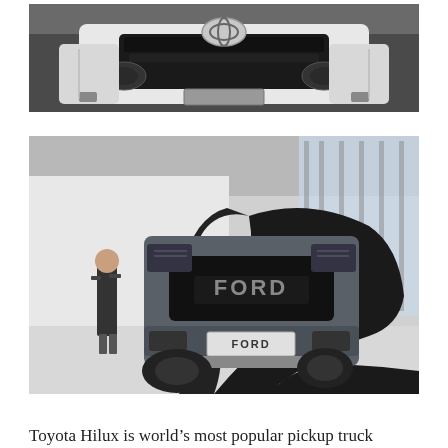[Figure (photo): Front view of a white Toyota Hilux truck with distinctive grille and Toyota logo, photographed indoors against a dark background]
[Figure (photo): Front view of a Ford Ranger pickup truck partially covered with a black cloth/cover, displayed in an indoor venue. A person stands to the left. License plate reads FORD.]
Toyota Hilux is world’s most popular pickup truck because of its indestructibility, great